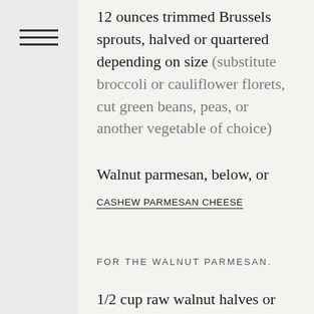12 ounces trimmed Brussels sprouts, halved or quartered depending on size (substitute broccoli or cauliflower florets, cut green beans, peas, or another vegetable of choice)
Walnut parmesan, below, or
CASHEW PARMESAN CHEESE
FOR THE WALNUT PARMESAN.
1/2 cup raw walnut halves or pieces
1/4 cup NUTRITIONAL YEAST
1/4 teaspoon fine sea salt